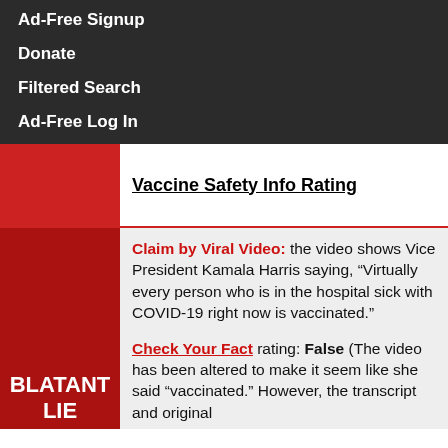Ad-Free Signup
Donate
Filtered Search
Ad-Free Log In
Vaccine Safety Info Rating
Claim by Viral Video: the video shows Vice President Kamala Harris saying, “Virtually every person who is in the hospital sick with COVID-19 right now is vaccinated.”
Check Your Fact rating: False (The video has been altered to make it seem like she said “vaccinated.” However, the transcript and original